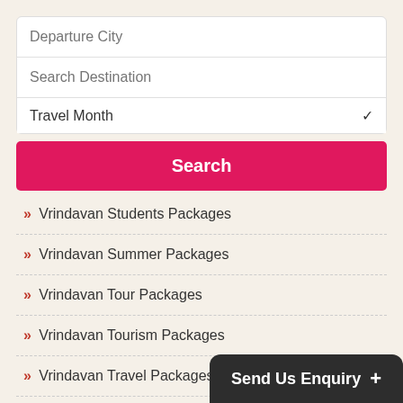[Figure (screenshot): Search form with Departure City input, Search Destination input, Travel Month dropdown, and a pink Search button]
» Vrindavan Students Packages
» Vrindavan Summer Packages
» Vrindavan Tour Packages
» Vrindavan Tourism Packages
» Vrindavan Travel Packages
» Vrindavan Trip Packages
» Vrindavan Vacation Packages
» Vrindavan Weekend Getaways Packages
» Vrindavan Winter Pack…
Send Us Enquiry +